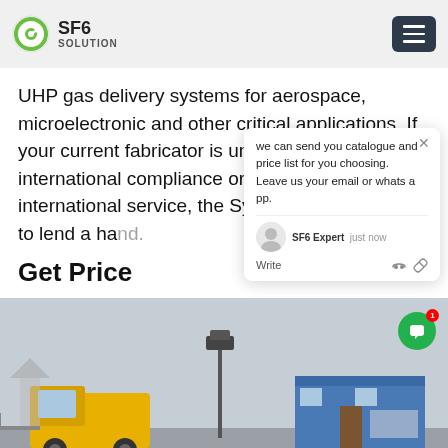SF6 SOLUTION
UHP gas delivery systems for aerospace, microelectronic and other critical applications. If your current fabricator is unfamiliar with international compliance or you're a system for international service, the Systems team is ready to lend a hand.
Get Price
[Figure (screenshot): Chat popup overlay showing message: 'we can send you catalogue and price list for you choosing. Leave us your email or whatsapp.' with SF6 Expert avatar, 'just now' timestamp, Write field with thumbs up and paperclip icons. Green circular chat button with badge '1' visible.]
[Figure (photo): Outdoor industrial site photo showing a yellow truck/vehicle on the left, a tall pole with equipment in the center, and a blue-framed modular building/container on the right, under overcast sky.]